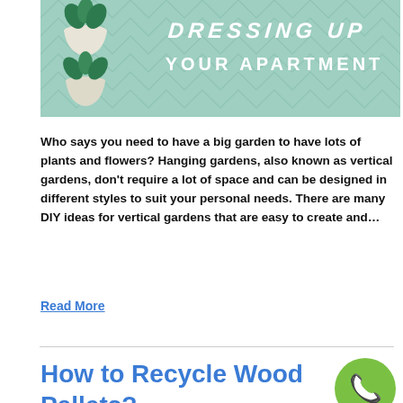[Figure (illustration): Banner image with mint/teal green background featuring a geometric chevron pattern. Two hanging potted plants with green leaves on the left side. White bold italic text reading 'DRESSING UP' on top and 'YOUR APARTMENT' below.]
Who says you need to have a big garden to have lots of plants and flowers? Hanging gardens, also known as vertical gardens, don't require a lot of space and can be designed in different styles to suit your personal needs. There are many DIY ideas for vertical gardens that are easy to create and…
Read More
How to Recycle Wood Pallets?
[Figure (illustration): Green circular phone/call button icon in the bottom right corner]